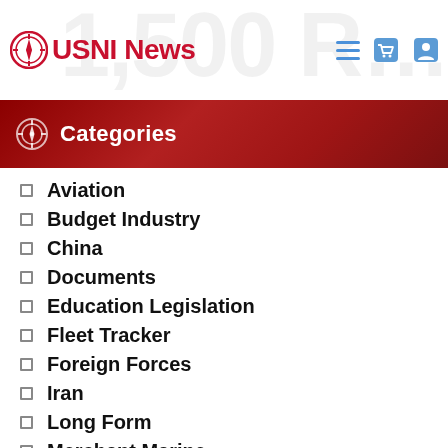USNI News
Categories
Aviation
Budget Industry
China
Documents
Education Legislation
Fleet Tracker
Foreign Forces
Iran
Long Form
Merchant Marine
Military Personnel
News & Analysis
Piracy
Russia
Space